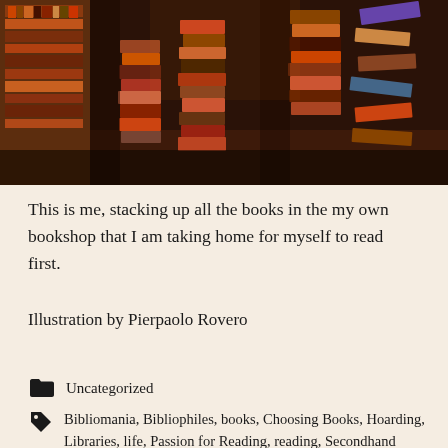[Figure (illustration): Illustrated painting of tall stacks of colorful books in a bookshop aisle, with shelves of books on the left and more stacked books to the right, rendered in warm dark tones.]
This is me, stacking up all the books in the my own bookshop that I am taking home for myself to read first.
Illustration by Pierpaolo Rovero
Uncategorized
Bibliomania, Bibliophiles, books, Choosing Books, Hoarding, Libraries, life, Passion for Reading, reading, Secondhand books, Secondhand Bookshops, Small business, The Book Keeper, Washington Bookshop